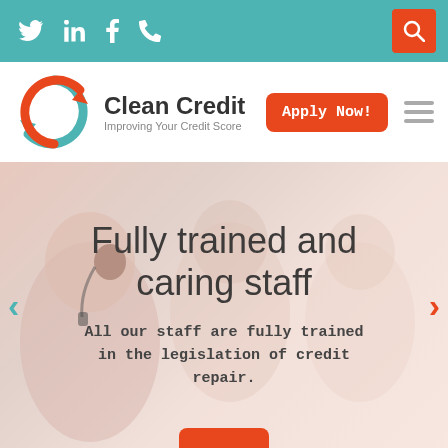Twitter LinkedIn Facebook Phone Search
[Figure (logo): Clean Credit logo with circular teal and red arrows icon, brand name 'Clean Credit' and tagline 'Improving Your Credit Score']
Apply Now!
[Figure (photo): Background photo of call center staff/customer service representatives with headsets, blurred/soft focus]
Fully trained and caring staff
All our staff are fully trained in the legislation of credit repair.